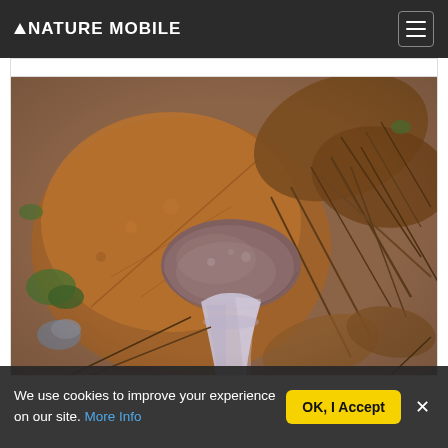NATURE MOBILE
[Figure (photo): Close-up photograph of a small brown mushroom with a rounded cap and pale/lilac stem, surrounded by dried autumn leaves (brown, rust-colored), pine needles, and forest floor debris.]
We use cookies to improve your experience on our site. More Info